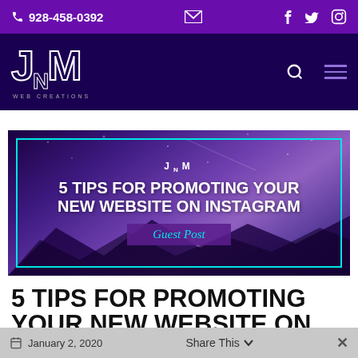928-458-0392 | JNM Web Creations
[Figure (screenshot): Banner image for blog post: 5 Tips for Promoting Your New Website on Instagram, Guest Post, with mountain landscape background and cyan border]
5 TIPS FOR PROMOTING YOUR NEW WEBSITE ON INSTAGRAM
January 2, 2020 | Share This